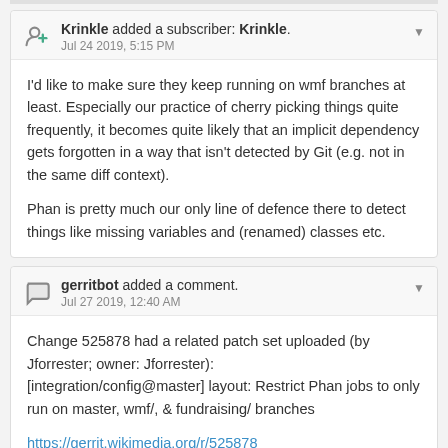Krinkle added a subscriber: Krinkle. Jul 24 2019, 5:15 PM
I'd like to make sure they keep running on wmf branches at least. Especially our practice of cherry picking things quite frequently, it becomes quite likely that an implicit dependency gets forgotten in a way that isn't detected by Git (e.g. not in the same diff context).

Phan is pretty much our only line of defence there to detect things like missing variables and (renamed) classes etc.
gerritbot added a comment. Jul 27 2019, 12:40 AM
Change 525878 had a related patch set uploaded (by Jforrester; owner: Jforrester):
[integration/config@master] layout: Restrict Phan jobs to only run on master, wmf/, & fundraising/ branches

https://gerrit.wikimedia.org/r/525878